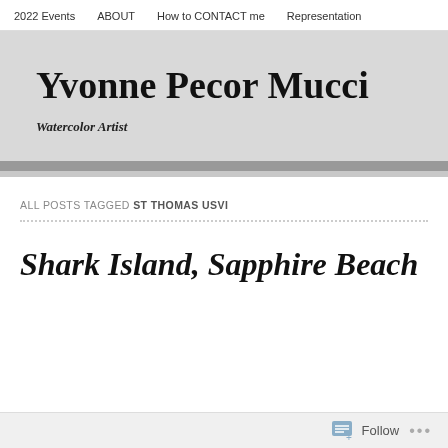2022 Events    ABOUT    How to CONTACT me    Representation
Yvonne Pecor Mucci
Watercolor Artist
ALL POSTS TAGGED ST THOMAS USVI
Shark Island, Sapphire Beach